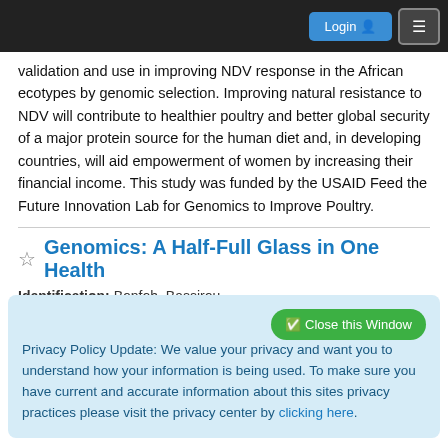Login [button] [menu button]
validation and use in improving NDV response in the African ecotypes by genomic selection. Improving natural resistance to NDV will contribute to healthier poultry and better global security of a major protein source for the human diet and, in developing countries, will aid empowerment of women by increasing their financial income. This study was funded by the USAID Feed the Future Innovation Lab for Genomics to Improve Poultry.
Genomics: A Half-Full Glass in One Health
Identification: Bonfoh, Bassirou
Privacy Policy Update: We value your privacy and want you to understand how your information is being used. To make sure you have current and accurate information about this sites privacy practices please visit the privacy center by clicking here.
Bassirou Bonfoh